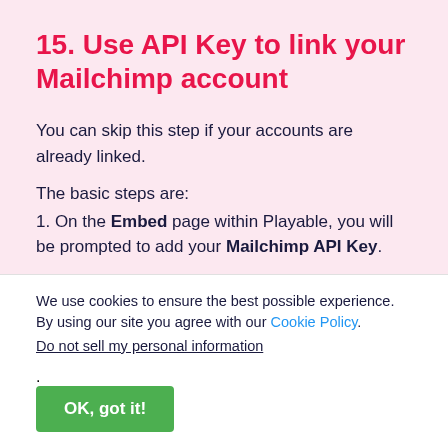15. Use API Key to link your Mailchimp account
You can skip this step if your accounts are already linked.
The basic steps are:
1. On the Embed page within Playable, you will be prompted to add your Mailchimp API Key.
We use cookies to ensure the best possible experience. By using our site you agree with our Cookie Policy.
Do not sell my personal information.
OK, got it!